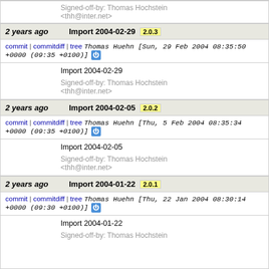Signed-off-by: Thomas Hochstein <thh@inter.net>
2 years ago  Import 2004-02-29  2.0.3
commit | commitdiff | tree  Thomas Huehn [Sun, 29 Feb 2004 08:35:50 +0000 (09:35 +0100)]
Import 2004-02-29
Signed-off-by: Thomas Hochstein <thh@inter.net>
2 years ago  Import 2004-02-05  2.0.2
commit | commitdiff | tree  Thomas Huehn [Thu, 5 Feb 2004 08:35:34 +0000 (09:35 +0100)]
Import 2004-02-05
Signed-off-by: Thomas Hochstein <thh@inter.net>
2 years ago  Import 2004-01-22  2.0.1
commit | commitdiff | tree  Thomas Huehn [Thu, 22 Jan 2004 08:30:14 +0000 (09:30 +0100)]
Import 2004-01-22
Signed-off-by: Thomas Hochstein